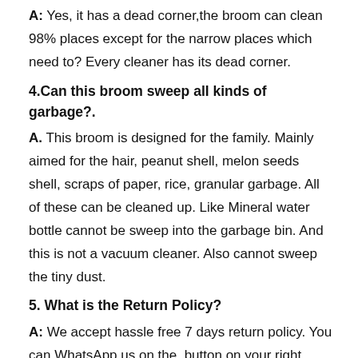A: Yes, it has a dead corner,the broom can clean 98% places except for the narrow places which need to? Every cleaner has its dead corner.
4.Can this broom sweep all kinds of garbage?.
A. This broom is designed for the family. Mainly aimed for the hair, peanut shell, melon seeds shell, scraps of paper, rice, granular garbage. All of these can be cleaned up. Like Mineral water bottle cannot be sweep into the garbage bin. And this is not a vacuum cleaner. Also cannot sweep the tiny dust.
5. What is the Return Policy?
A: We accept hassle free 7 days return policy. You can WhatsApp us on the  button on your right